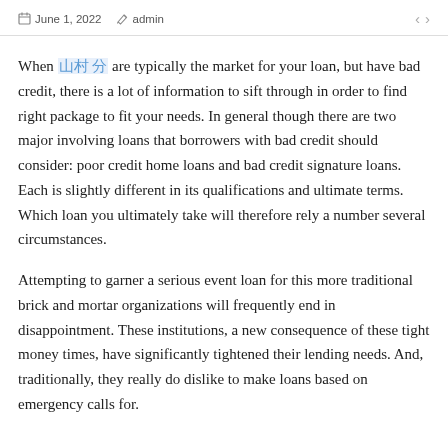June 1, 2022   admin
When 여기 서 are typically the market for your loan, but have bad credit, there is a lot of information to sift through in order to find right package to fit your needs. In general though there are two major involving loans that borrowers with bad credit should consider: poor credit home loans and bad credit signature loans. Each is slightly different in its qualifications and ultimate terms. Which loan you ultimately take will therefore rely a number several circumstances.
Attempting to garner a serious event loan for this more traditional brick and mortar organizations will frequently end in disappointment. These institutions, a new consequence of these tight money times, have significantly tightened their lending needs. And, traditionally, they really do dislike to make loans based on emergency calls for.